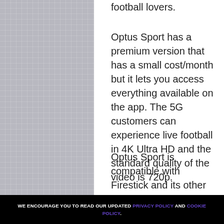football lovers.
Optus Sport has a premium version that has a small cost/month but it lets you access everything available on the app. The 5G customers can experience live football in 4K Ultra HD and the standard quality of the video is 720p.
Optus Sport is compatible with Firestick and its other variants. It makes the viewership enjoyable and it is the
WE ENCOURAGE YOU TO READ OUR UPDATED PRIVACY POLICY AND COOKIE POLICY.